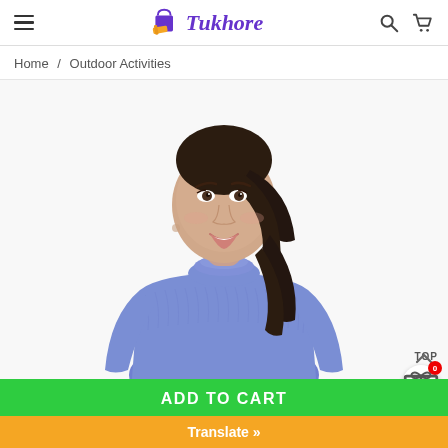Tukhore — navigation header with hamburger menu, logo, search and cart icons
Home / Outdoor Activities
[Figure (photo): Woman wearing a blue long-sleeve mock turtleneck athletic top, smiling, on a white background. E-commerce product photo.]
ADD TO CART
Translate »